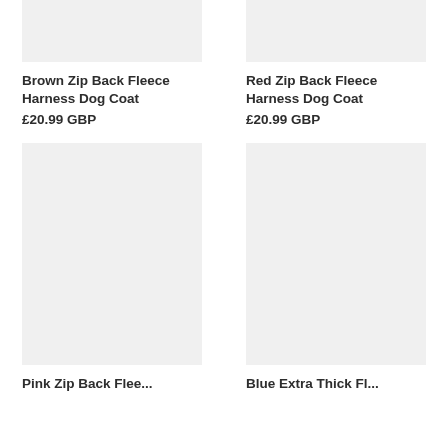[Figure (photo): Brown Zip Back Fleece Harness Dog Coat product image placeholder (light grey rectangle)]
Brown Zip Back Fleece Harness Dog Coat
£20.99 GBP
[Figure (photo): Red Zip Back Fleece Harness Dog Coat product image placeholder (light grey rectangle)]
Red Zip Back Fleece Harness Dog Coat
£20.99 GBP
[Figure (photo): Pink Zip Back Fleece product image placeholder (light grey rectangle, tall)]
Pink Zip Back Flee...
[Figure (photo): Blue Extra Thick Fle... product image placeholder (light grey rectangle, tall)]
Blue Extra Thick Fl...